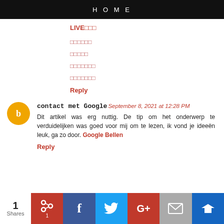HOME
LIVE□□□
□□□□□□
□□□□□
□□□□□□□
□□□□□□□
Reply
contact met Google  September 8, 2021 at 12:28 PM
Dit artikel was erg nuttig. De tip om het onderwerp te verduidelijken was goed voor mij om te lezen, ik vond je ideeën leuk, ga zo door. Google Bellen
Reply
1 Shares